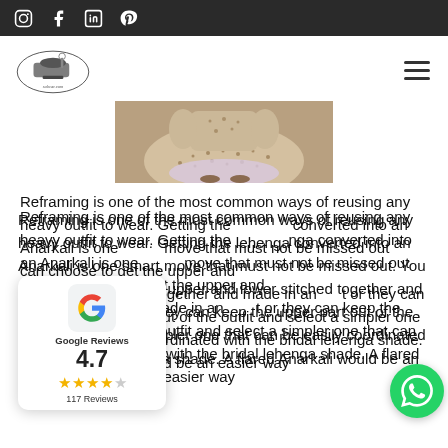Social media icons bar (Instagram, Facebook, LinkedIn, Pinterest)
[Figure (logo): Salwar.com sewing machine logo]
[Figure (photo): Photo of woman wearing a floral lehenga/anarkali outfit, lower half visible]
Reframing is one of the most common ways of reusing any heavy outfit to wear. Getting the lehenga converted into an Anarkali is one smart move that must not be missed out. You can choose to get the upper and lower stitched together and made in an outfit or they can keep the upper part out of the outfit and select a simpler one that can be easily coordinated with the bridal lehenga shade. A flared Anarkali would be an easier way
[Figure (other): Google Reviews widget showing 4.7 rating with 4 stars and 117 Reviews]
[Figure (other): WhatsApp contact bubble (green circle with WhatsApp icon)]